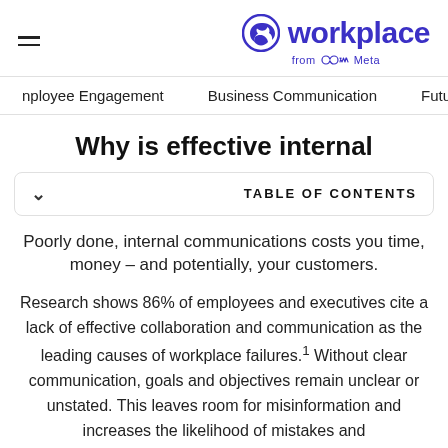workplace from Meta
Employee Engagement | Business Communication | Future of Work
Why is effective internal
TABLE OF CONTENTS
Poorly done, internal communications costs you time, money – and potentially, your customers.
Research shows 86% of employees and executives cite a lack of effective collaboration and communication as the leading causes of workplace failures.¹ Without clear communication, goals and objectives remain unclear or unstated. This leaves room for misinformation and increases the likelihood of mistakes and misunderstandings.